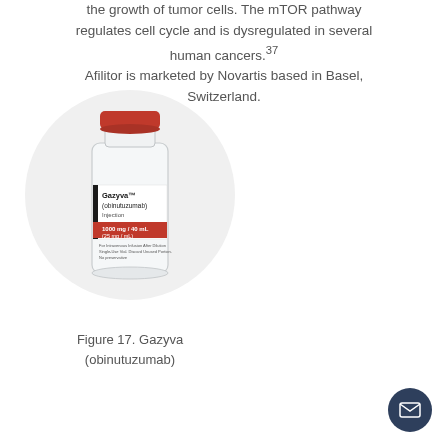the growth of tumor cells. The mTOR pathway regulates cell cycle and is dysregulated in several human cancers.37 Afilitor is marketed by Novartis based in Basel, Switzerland.
[Figure (photo): Photograph of a glass injection vial labeled Gazyva (obinutuzumab) Injection 1000 mg/40 mL (25 mg/mL), with a red cap and red label band, displayed against a circular light grey background.]
Figure 17. Gazyva (obinutuzumab)